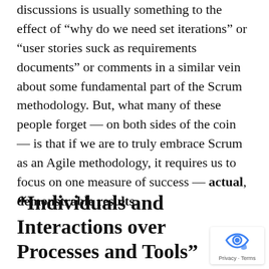discussions is usually something to the effect of “why do we need set iterations” or “user stories suck as requirements documents” or comments in a similar vein about some fundamental part of the Scrum methodology. But, what many of these people forget — on both sides of the coin — is that if we are to truly embrace Scrum as an Agile methodology, it requires us to focus on one measure of success — actual, demonstrable results.
“Individuals and Interactions over Processes and Tools”